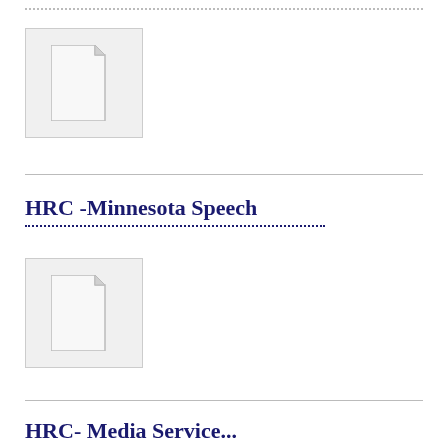[Figure (illustration): Document/file icon placeholder - gray page icon on light gray background]
HRC -Minnesota Speech
[Figure (illustration): Document/file icon placeholder - gray page icon on light gray background]
HRC- Media Service...